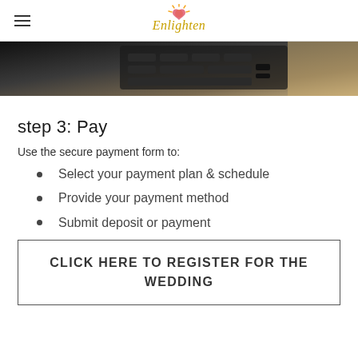Enlighten (logo)
[Figure (photo): Close-up photo of a laptop keyboard on a wooden surface, partially cropped, dark tones.]
step 3: Pay
Use the secure payment form to:
Select your payment plan & schedule
Provide your payment method
Submit deposit or payment
CLICK HERE TO REGISTER FOR THE WEDDING